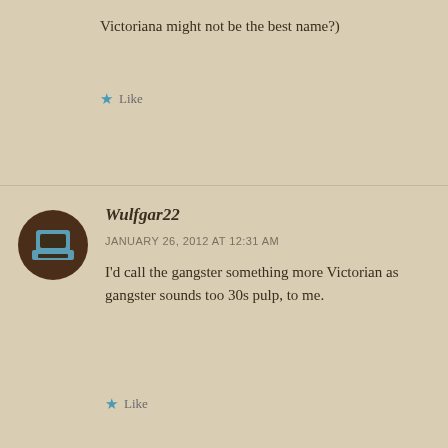Victoriana might not be the best name?)
Like
Wulfgar22
JANUARY 26, 2012 AT 12:31 AM
I'd call the gangster something more Victorian as gangster sounds too 30s pulp, to me.
Like